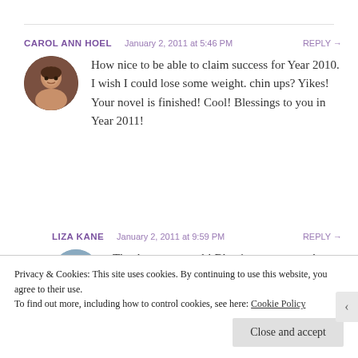CAROL ANN HOEL   January 2, 2011 at 5:46 PM   REPLY →
How nice to be able to claim success for Year 2010. I wish I could lose some weight. chin ups? Yikes! Your novel is finished! Cool! Blessings to you in Year 2011!
LIZA KANE   January 2, 2011 at 9:59 PM   REPLY →
Thank you so much! Blessings to you too!
Privacy & Cookies: This site uses cookies. By continuing to use this website, you agree to their use.
To find out more, including how to control cookies, see here: Cookie Policy
Close and accept